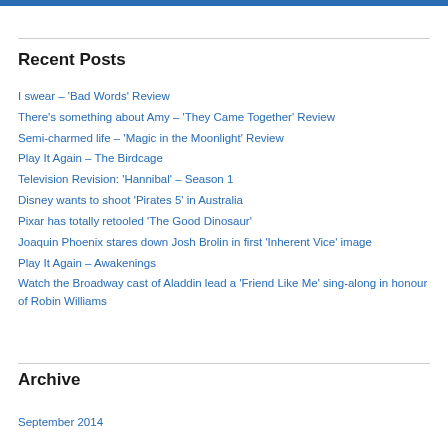Recent Posts
I swear – 'Bad Words' Review
There's something about Amy – 'They Came Together' Review
Semi-charmed life – 'Magic in the Moonlight' Review
Play It Again – The Birdcage
Television Revision: 'Hannibal' – Season 1
Disney wants to shoot 'Pirates 5' in Australia
Pixar has totally retooled 'The Good Dinosaur'
Joaquin Phoenix stares down Josh Brolin in first 'Inherent Vice' image
Play It Again – Awakenings
Watch the Broadway cast of Aladdin lead a 'Friend Like Me' sing-along in honour of Robin Williams
Archive
September 2014